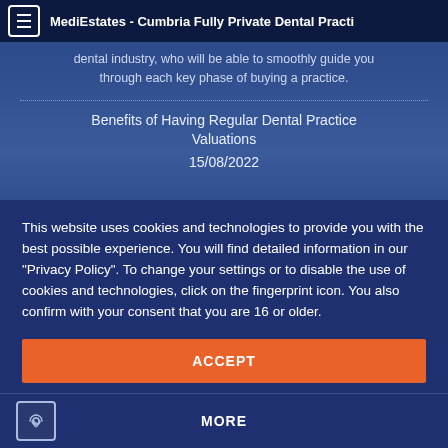MediEstates - Cumbria Fully Private Dental Practi
dental industry, who will be able to smoothly guide you through each key phase of buying a practice.
Benefits of Having Regular Dental Practice Valuations
15/08/2022
This website uses cookies and technologies to provide you with the best possible experience. You will find detailed information in our "Privacy Policy". To change your settings or to disable the use of cookies and technologies, click on the fingerprint icon. You also confirm with your consent that you are 16 or older.
ACCEPT
MORE